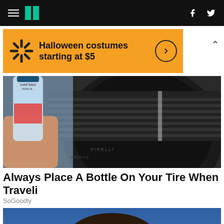HuffPost navigation bar with hamburger menu, logo, Facebook and Twitter icons
[Figure (other): Orange Walmart advertisement banner: 'Halloween costumes starting at $5' with Walmart spark logo and arrow circle button]
[Figure (photo): Photo of a hand holding a plastic water bottle against a black car tire]
Always Place A Bottle On Your Tire When Traveli
SoGoodly
[Figure (photo): Close-up photo of a man's face against a blue background]